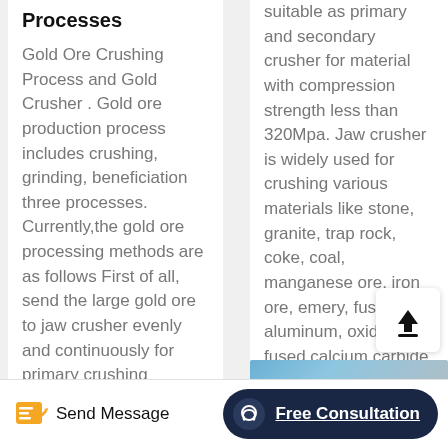Processes
Gold Ore Crushing Process and Gold Crusher . Gold ore production process includes crushing, grinding, beneficiation three processes. Currently,the gold ore processing methods are as follows First of all, send the large gold ore to jaw crusher evenly and continuously for primary crushing
suitable as primary and secondary crusher for material with compression strength less than 320Mpa. Jaw crusher is widely used for crushing various materials like stone, granite, trap rock, coke, coal, manganese ore, iron ore, emery, fused aluminum, oxide, fused calcium carbide, lime stone, quartzite, alloy etc,is a ...
Send Message   Free Consultation